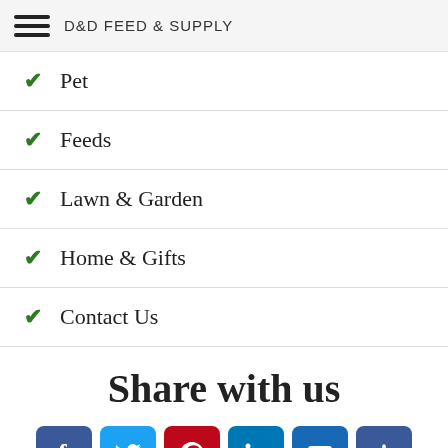D&D FEED & SUPPLY
Pet
Feeds
Lawn & Garden
Home & Gifts
Contact Us
Share with us
[Figure (infographic): Social sharing icons: Facebook, Twitter, Pinterest, LinkedIn, Email, More (+)]